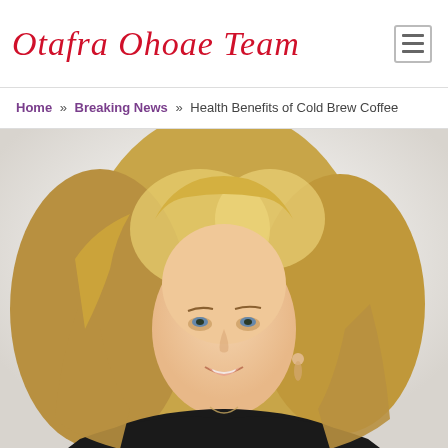Otafra Ohoae Team
Home » Breaking News » Health Benefits of Cold Brew Coffee
[Figure (photo): Professional headshot of a woman with blonde layered hair, wearing dark clothing with jewelry, smiling, against a white/light background]